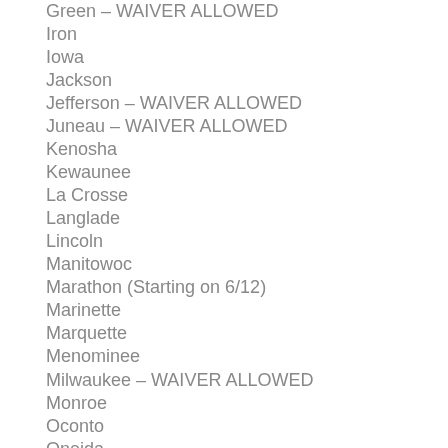Green – WAIVER ALLOWED
Iron
Iowa
Jackson
Jefferson – WAIVER ALLOWED
Juneau – WAIVER ALLOWED
Kenosha
Kewaunee
La Crosse
Langlade
Lincoln
Manitowoc
Marathon (Starting on 6/12)
Marinette
Marquette
Menominee
Milwaukee – WAIVER ALLOWED
Monroe
Oconto
Oneida
Outagamie
Pepin
Pierce